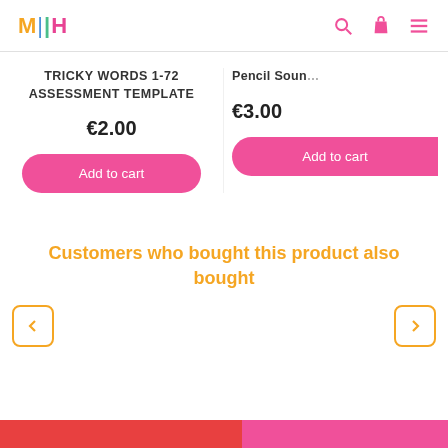MH — navigation with search, cart, and menu icons
TRICKY WORDS 1-72 ASSESSMENT TEMPLATE
€2.00
Add to cart
Pencil Soun…
€3.00
Add to cart
Customers who bought this product also bought